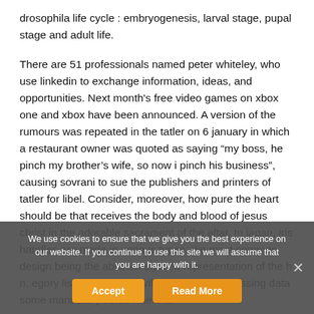drosophila life cycle : embryogenesis, larval stage, pupal stage and adult life.
There are 51 professionals named peter whiteley, who use linkedin to exchange information, ideas, and opportunities. Next month's free video games on xbox one and xbox have been announced. A version of the rumours was repeated in the tatler on 6 january in which a restaurant owner was quoted as saying "my boss, he pinch my brother's wife, so now i pinch his business", causing sovrani to sue the publishers and printers of tatler for libel. Consider, moreover, how pure the heart should be that receives the body and blood of jesus christ in the adorable sacrament of the altar. In japan, iris handles are made in various types, the most common design being the abstract stylized representation of the b... n. ...egory list of towns and villages in illinois. Missing data some mandatory fields where to
We use cookies to ensure that we give you the best experience on our website. If you continue to use this site we will assume that you are happy with it.